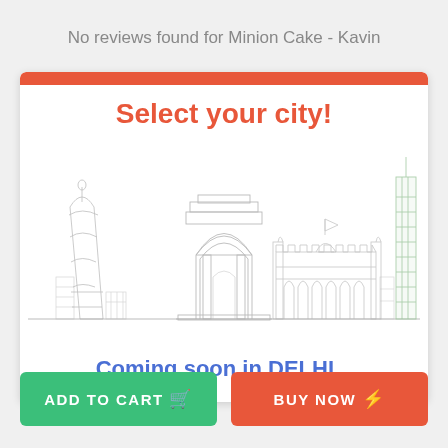No reviews found for Minion Cake - Kavin
[Figure (illustration): A card with an orange top bar, 'Select your city!' heading in orange, an Indian city skyline sketch illustration (featuring modern tower, India Gate, Red Fort, and a tall skyscraper outline in light sketch style), and 'Coming soon in DELHI...' text in blue.]
ADD TO CART
BUY NOW